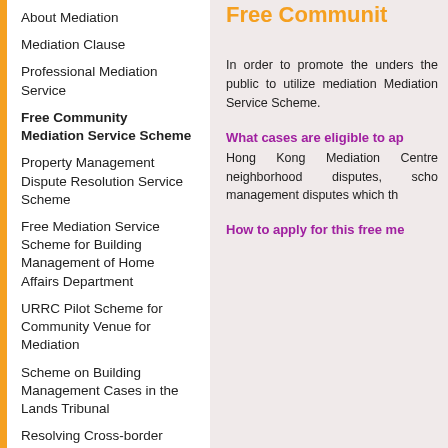About Mediation
Mediation Clause
Professional Mediation Service
Free Community Mediation Service Scheme
Property Management Dispute Resolution Service Scheme
Free Mediation Service Scheme for Building Management of Home Affairs Department
URRC Pilot Scheme for Community Venue for Mediation
Scheme on Building Management Cases in the Lands Tribunal
Resolving Cross-border Disputes: Cross-border Mediation Mechanism
Free Communit
In order to promote the unders the public to utilize mediation Mediation Service Scheme.
What cases are eligible to ap
Hong Kong Mediation Centre neighborhood disputes, scho management disputes which th
How to apply for this free me